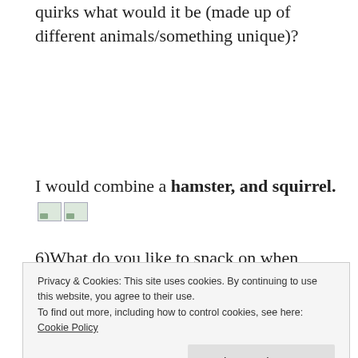quirks what would it be (made up of different animals/something unique)?
I would combine a hamster, and squirrel. [images]
6)What do you like to snack on when blogging
Privacy & Cookies: This site uses cookies. By continuing to use this website, you agree to their use.
To find out more, including how to control cookies, see here: Cookie Policy
[Close and accept button]